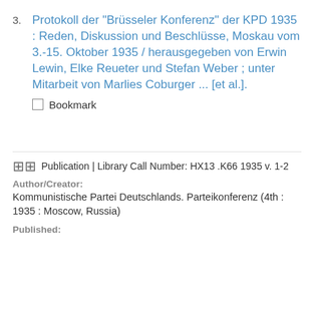Protokoll der "Brüsseler Konferenz" der KPD 1935 : Reden, Diskussion und Beschlüsse, Moskau vom 3.-15. Oktober 1935 / herausgegeben von Erwin Lewin, Elke Reueter und Stefan Weber ; unter Mitarbeit von Marlies Coburger ... [et al.].
Bookmark
Publication | Library Call Number: HX13 .K66 1935 v. 1-2
Author/Creator:
Kommunistische Partei Deutschlands. Parteikonferenz (4th : 1935 : Moscow, Russia)
Published: